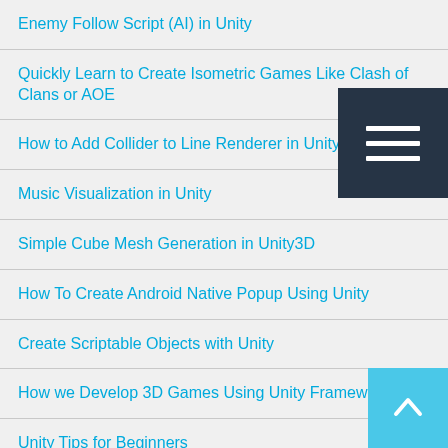Enemy Follow Script (AI) in Unity
Quickly Learn to Create Isometric Games Like Clash of Clans or AOE
How to Add Collider to Line Renderer in Unity
Music Visualization in Unity
Simple Cube Mesh Generation in Unity3D
How To Create Android Native Popup Using Unity
Create Scriptable Objects with Unity
How we Develop 3D Games Using Unity Framework
Unity Tips for Beginners